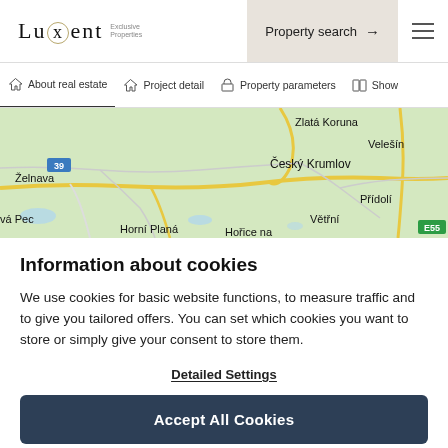Luxent | Exclusive Properties — Property search →
[Figure (map): Google Maps view showing area around Český Krumlov, Czech Republic, with place names: Zlatá Koruna, Velešín, Želnava, Český Krumlov, Přídolí, Větřní, Horní Planá, Hořice na, vá Pec, road numbers 39 and E55]
Information about cookies
We use cookies for basic website functions, to measure traffic and to give you tailored offers. You can set which cookies you want to store or simply give your consent to store them.
Detailed Settings
Accept All Cookies